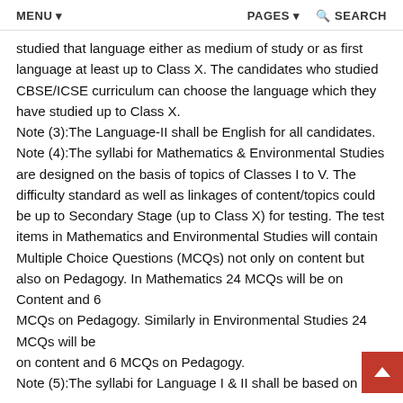MENU ▾   PAGES ▾   🔍 SEARCH
studied that language either as medium of study or as first language at least up to Class X. The candidates who studied CBSE/ICSE curriculum can choose the language which they have studied up to Class X.
Note (3):The Language-II shall be English for all candidates.
Note (4):The syllabi for Mathematics & Environmental Studies are designed on the basis of topics of Classes I to V. The difficulty standard as well as linkages of content/topics could be up to Secondary Stage (up to Class X) for testing. The test items in Mathematics and Environmental Studies will contain Multiple Choice Questions (MCQs) not only on content but also on Pedagogy. In Mathematics 24 MCQs will be on Content and 6
MCQs on Pedagogy. Similarly in Environmental Studies 24 MCQs will be
on content and 6 MCQs on Pedagogy.
Note (5):The syllabi for Language I & II shall be based on